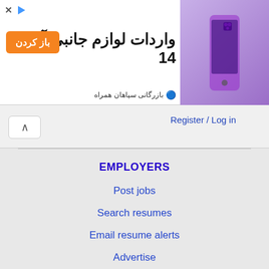[Figure (screenshot): Advertisement banner for iPhone 14 accessories import with orange button labeled 'باز کردن' (Open) and Persian text 'واردات لوازم جانبی آیفون 14' with phone image on right]
Register / Log in
EMPLOYERS
Post jobs
Search resumes
Email resume alerts
Advertise
IMMIGRATION SPECIALISTS
Post jobs
Immigration FAQs
Learn more